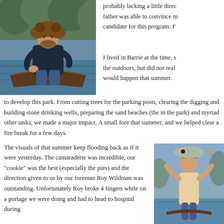[Figure (photo): Man sitting in a wooden canoe or boat on water, wearing a dark jacket, with curly hair and beard]
probably lacking a little direct... father was able to convince me... candidate for this program. I'...
I lived in Barrie at the time, s... the outdoors, but did not real... would happen that summer.
to develop this park. From cutting trees for the parking posts, clearing the digging and building stone drinking wells, preparing the sand beaches (the in the park) and myriad other tasks, we made a major impact. A small fore that summer, and we helped clear a fire break for a few days.
The visuals of that summer keep flooding back as if it were yesterday. The camaraderie was incredible, our "cookie" was the best (especially the pies) and the direction given to us by our foreman Roy Wildman was outstanding. Unfortunately Roy broke 4 fingers while on a portage we were doing and had to head to hospital during
[Figure (photo): Person holding a large fish, photographed outdoors near water]